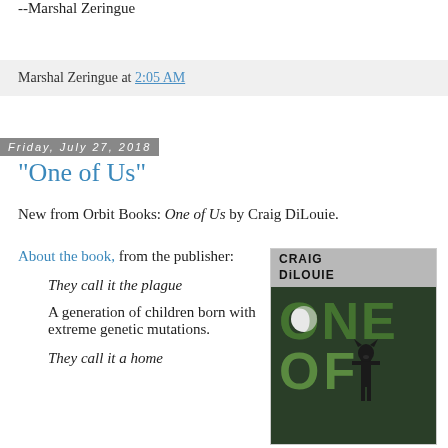--Marshal Zeringue
Marshal Zeringue at 2:05 AM
Friday, July 27, 2018
"One of Us"
New from Orbit Books: One of Us by Craig DiLouie.
About the book, from the publisher:
They call it the plague
A generation of children born with extreme genetic mutations.
They call it a home
[Figure (illustration): Book cover of 'One of Us' by Craig DiLouie, published by Orbit Books. Dark green background with large letters ONE OF (US implied below), silhouette of a figure with an animal head, author name at top in bold black text on gray background.]